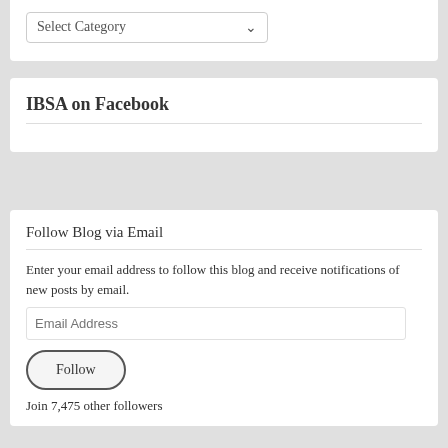[Figure (screenshot): Dropdown select input with label 'Select Category' and a chevron arrow on the right]
IBSA on Facebook
Follow Blog via Email
Enter your email address to follow this blog and receive notifications of new posts by email.
[Figure (screenshot): Email Address input field with placeholder text]
[Figure (screenshot): Follow button with rounded border]
Join 7,475 other followers